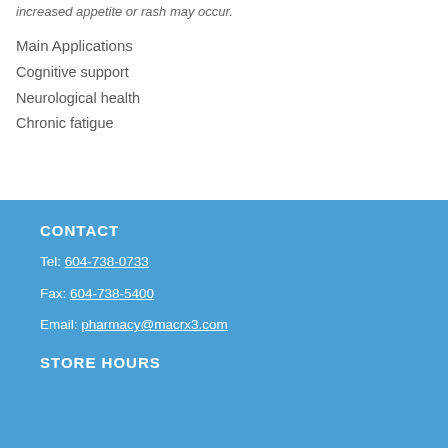increased appetite or rash may occur.
Main Applications
Cognitive support
Neurological health
Chronic fatigue
CONTACT
Tel: 604-738-0733
Fax: 604-738-5400
Email: pharmacy@macrx3.com
STORE HOURS